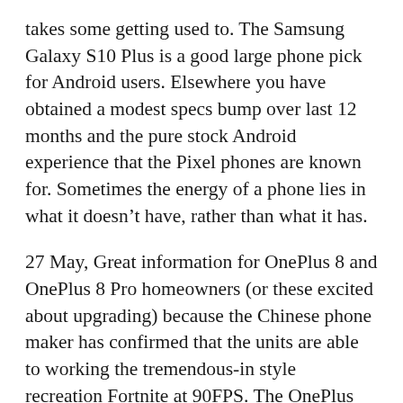takes some getting used to. The Samsung Galaxy S10 Plus is a good large phone pick for Android users. Elsewhere you have obtained a modest specs bump over last 12 months and the pure stock Android experience that the Pixel phones are known for. Sometimes the energy of a phone lies in what it doesn't have, rather than what it has.
27 May, Great information for OnePlus 8 and OnePlus 8 Pro homeowners (or these excited about upgrading) because the Chinese phone maker has confirmed that the units are able to working the tremendous-in style recreation Fortnite at 90FPS. The OnePlus eight Pro, although, has all the superior features you could need and in terms of its display, sets a brand new benchmark for each other phone maker on the earth to follow. Over the previous half decade OnePlus was identified for producing “flagship killers”, handsets that matched much more costly telephones when it comes